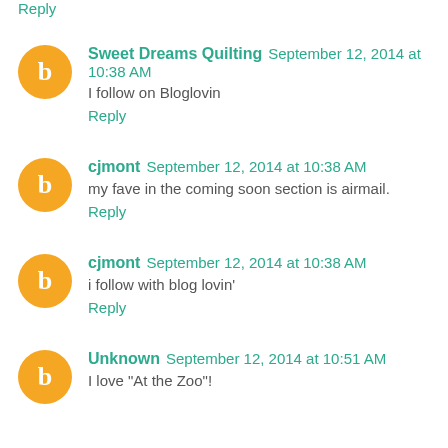Reply
Sweet Dreams Quilting September 12, 2014 at 10:38 AM
I follow on Bloglovin
Reply
cjmont September 12, 2014 at 10:38 AM
my fave in the coming soon section is airmail.
Reply
cjmont September 12, 2014 at 10:38 AM
i follow with blog lovin'
Reply
Unknown September 12, 2014 at 10:51 AM
I love "At the Zoo"!